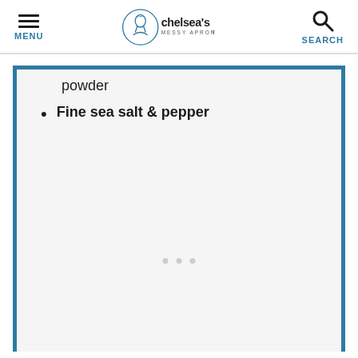MENU | chelsea's MESSY APRON® | SEARCH
powder
Fine sea salt & pepper